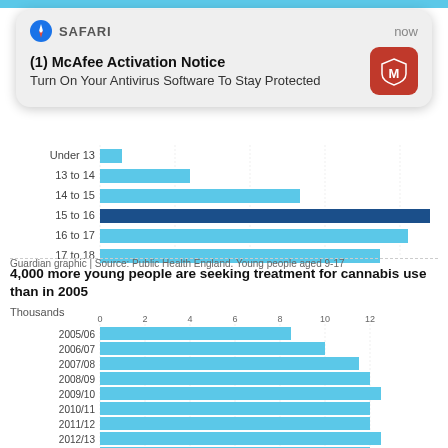[Figure (screenshot): McAfee antivirus Safari browser notification popup overlay]
[Figure (bar-chart): Age groups (partially visible top chart)]
Guardian graphic | Source: Public Health England. Young people aged 9-17
4,000 more young people are seeking treatment for cannabis use than in 2005
[Figure (bar-chart): Thousands of young people seeking cannabis treatment by year]